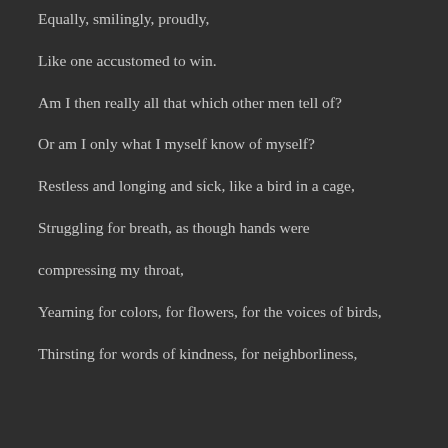Equally, smilingly, proudly,
Like one accustomed to win.
Am I then really all that which other men tell of?
Or am I only what I myself know of myself?
Restless and longing and sick, like a bird in a cage,
Struggling for breath, as though hands were
compressing my throat,
Yearning for colors, for flowers, for the voices of birds,
Thirsting for words of kindness, for neighborliness,